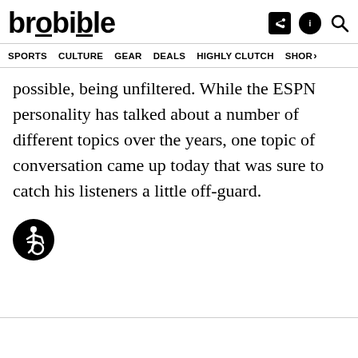brobible
SPORTS  CULTURE  GEAR  DEALS  HIGHLY CLUTCH  SHOP
possible, being unfiltered. While the ESPN personality has talked about a number of different topics over the years, one topic of conversation came up today that was sure to catch his listeners a little off-guard.
[Figure (other): Accessibility icon — wheelchair user symbol in a black circle]